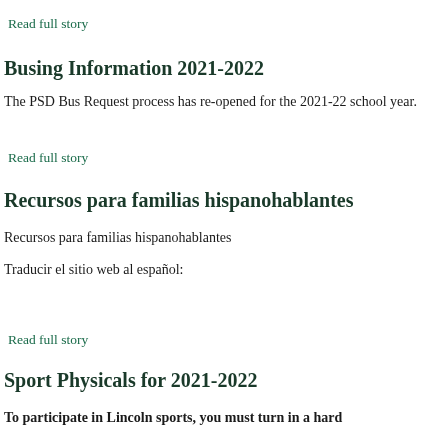Read full story
Busing Information 2021-2022
The PSD Bus Request process has re-opened for the 2021-22 school year.
Read full story
Recursos para familias hispanohablantes
Recursos para familias hispanohablantes
Traducir el sitio web al español:
Read full story
Sport Physicals for 2021-2022
To participate in Lincoln sports, you must turn in a hard